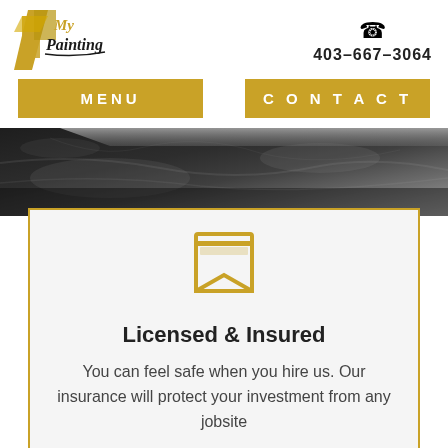[Figure (logo): My Painting company logo with golden diamond/paint shapes and stylized text]
403-667-3064
MENU
CONTACT
[Figure (photo): Dark granite/stone countertop close-up in dark tones with angular edge visible]
[Figure (illustration): Gold outlined bookmark/badge icon]
Licensed & Insured
You can feel safe when you hire us. Our insurance will protect your investment from any jobsite